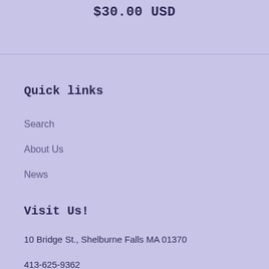$30.00 USD
Quick links
Search
About Us
News
Visit Us!
10 Bridge St., Shelburne Falls MA 01370
413-625-9362